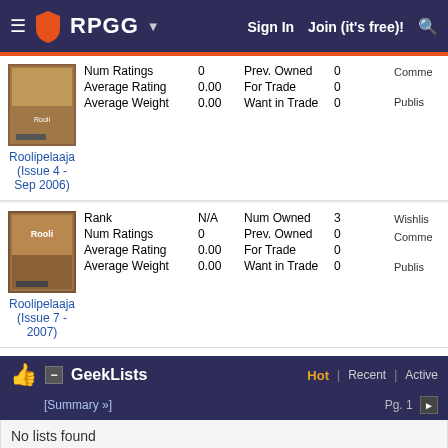RPGG | Sign In | Join (it's free)!
[Figure (screenshot): Thumbnail cover image for Roolipelaaja Issue 4 Sep 2006]
Num Ratings 0 Prev. Owned 0
Average Rating 0.00 For Trade 0
Average Weight 0.00 Want in Trade 0
Roolipelaaja (Issue 4 - Sep 2006)
[Figure (screenshot): Thumbnail cover image for Roolipelaaja Issue 7 2007]
Rank N/A Num Owned 3
Num Ratings 0 Prev. Owned 0
Average Rating 0.00 For Trade 0
Average Weight 0.00 Want in Trade 0
Roolipelaaja (Issue 7 - 2007)
GeekLists
[Summary »]
Hot | Recent | Active  Pg. 1 >
No lists found
Web Links
[Browse »] [Add Link »] Category: All  Language: All  Pg. 1 >
No Web Links Found